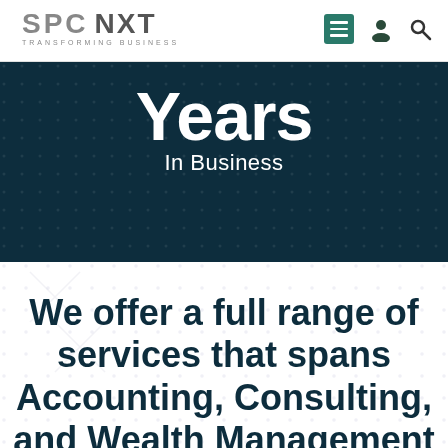[Figure (logo): SPC NXT Transforming Business logo with navigation icons (hamburger menu, user icon, search icon)]
Years
In Business
We offer a full range of services that spans Accounting, Consulting, and Wealth Management